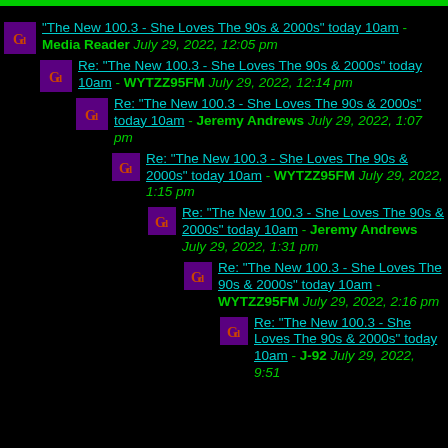"The New 100.3 - She Loves The 90s & 2000s" today 10am - Media Reader July 29, 2022, 12:05 pm
Re: "The New 100.3 - She Loves The 90s & 2000s" today 10am - WYTZZ95FM July 29, 2022, 12:14 pm
Re: "The New 100.3 - She Loves The 90s & 2000s" today 10am - Jeremy Andrews July 29, 2022, 1:07 pm
Re: "The New 100.3 - She Loves The 90s & 2000s" today 10am - WYTZZ95FM July 29, 2022, 1:15 pm
Re: "The New 100.3 - She Loves The 90s & 2000s" today 10am - Jeremy Andrews July 29, 2022, 1:31 pm
Re: "The New 100.3 - She Loves The 90s & 2000s" today 10am - WYTZZ95FM July 29, 2022, 2:16 pm
Re: "The New 100.3 - She Loves The 90s & 2000s" today 10am - J-92 July 29, 2022, 9:51 ...